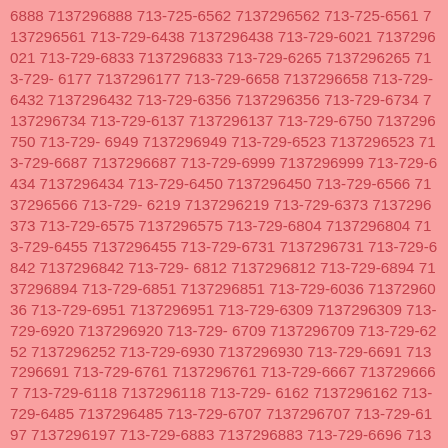6888 7137296888 713-725-6562 7137296562 713-725-6561 7137296561 713-729-6438 7137296438 713-729-6021 7137296021 713-729-6833 7137296833 713-729-6265 7137296265 713-729-6177 7137296177 713-729-6658 7137296658 713-729-6432 7137296432 713-729-6356 7137296356 713-729-6734 7137296734 713-729-6137 7137296137 713-729-6750 7137296750 713-729-6949 7137296949 713-729-6523 7137296523 713-729-6687 7137296687 713-729-6999 7137296999 713-729-6434 7137296434 713-729-6450 7137296450 713-729-6566 7137296566 713-729-6219 7137296219 713-729-6373 7137296373 713-729-6575 7137296575 713-729-6804 7137296804 713-729-6455 7137296455 713-729-6731 7137296731 713-729-6842 7137296842 713-729-6812 7137296812 713-729-6894 7137296894 713-729-6851 7137296851 713-729-6036 7137296036 713-729-6951 7137296951 713-729-6309 7137296309 713-729-6920 7137296920 713-729-6709 7137296709 713-729-6252 7137296252 713-729-6930 7137296930 713-729-6691 7137296691 713-729-6761 7137296761 713-729-6667 7137296667 713-729-6118 7137296118 713-729-6162 7137296162 713-729-6485 7137296485 713-729-6707 7137296707 713-729-6197 7137296197 713-729-6883 7137296883 713-729-6696 7137296696 713-729-6962 7137296962 713-729-6748 7137296748 713-729-6246 7137296246 713-729-6113 7137296113 713-729-6064 7137296064 713-729-6923 7137296923 713-729-6240 7137296240 713-729-6194 7137296194 713-729-6620 7137296620 713-729-6886 7137296886 713-729-6303 7137296303 713-729-6062 7137296062 713-729-6033 7137296033 713-729-6633 7137296633 713-729-6270 7137296270 713-729-